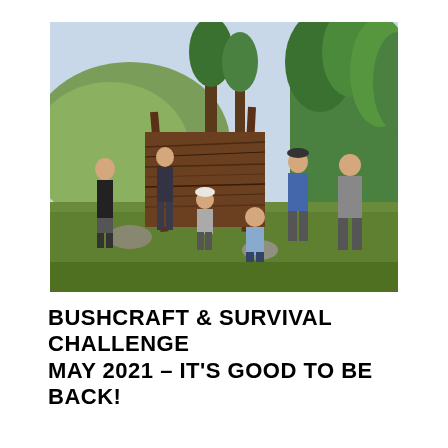[Figure (photo): Group of five young people standing and crouching in front of a large rustic lean-to shelter made of sticks and branches, in a woodland clearing with green trees and a hillside in the background. Sunny day.]
BUSHCRAFT & SURVIVAL CHALLENGE MAY 2021 – IT'S GOOD TO BE BACK!